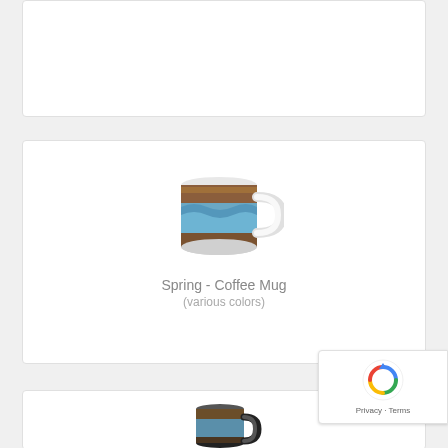[Figure (photo): Top product card - partially visible, white background with rounded border]
[Figure (photo): Coffee mug with spring landscape artwork (blue/brown colors), white background product card]
Spring - Coffee Mug
(various colors)
[Figure (photo): Bottom product card partially visible - dark/black colored mug with landscape artwork]
[Figure (logo): Google reCAPTCHA badge with Privacy and Terms links]